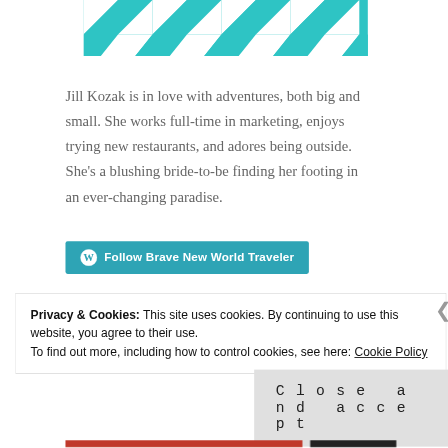[Figure (illustration): Teal and white geometric triangle/diamond repeating pattern strip across the top portion of the page]
Jill Kozak is in love with adventures, both big and small. She works full-time in marketing, enjoys trying new restaurants, and adores being outside. She's a blushing bride-to-be finding her footing in an ever-changing paradise.
[Figure (other): Teal button with WordPress logo icon and text: Follow Brave New World Traveler]
Privacy & Cookies: This site uses cookies. By continuing to use this website, you agree to their use.
To find out more, including how to control cookies, see here: Cookie Policy
Close and accept